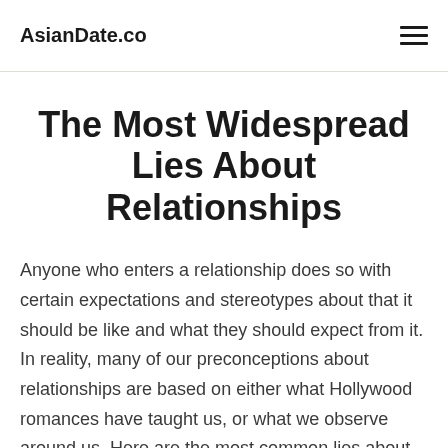AsianDate.co
The Most Widespread Lies About Relationships
Anyone who enters a relationship does so with certain expectations and stereotypes about that it should be like and what they should expect from it. In reality, many of our preconceptions about relationships are based on either what Hollywood romances have taught us, or what we observe around us. Here are the most common lies about relationships...